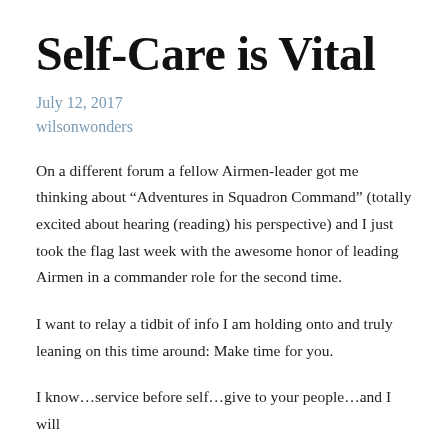Self-Care is Vital
July 12, 2017
wilsonwonders
On a different forum a fellow Airmen-leader got me thinking about “Adventures in Squadron Command” (totally excited about hearing (reading) his perspective) and I just took the flag last week with the awesome honor of leading Airmen in a commander role for the second time.
I want to relay a tidbit of info I am holding onto and truly leaning on this time around: Make time for you.
I know…service before self…give to your people…and I will